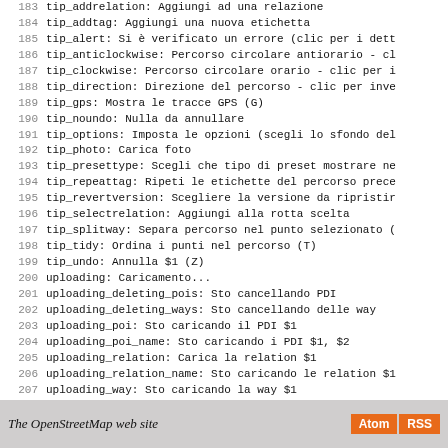183  tip_addrelation: Aggiungi ad una relazione
184  tip_addtag: Aggiungi una nuova etichetta
185  tip_alert: Si è verificato un errore (clic per i dett
186  tip_anticlockwise: Percorso circolare antiorario - cl
187  tip_clockwise: Percorso circolare orario - clic per i
188  tip_direction: Direzione del percorso - clic per inve
189  tip_gps: Mostra le tracce GPS (G)
190  tip_noundo: Nulla da annullare
191  tip_options: Imposta le opzioni (scegli lo sfondo del
192  tip_photo: Carica foto
193  tip_presettype: Scegli che tipo di preset mostrare ne
194  tip_repeattag: Ripeti le etichette del percorso prece
195  tip_revertversion: Scegliere la versione da ripristir
196  tip_selectrelation: Aggiungi alla rotta scelta
197  tip_splitway: Separa percorso nel punto selezionato (
198  tip_tidy: Ordina i punti nel percorso (T)
199  tip_undo: Annulla $1 (Z)
200  uploading: Caricamento...
201  uploading_deleting_pois: Sto cancellando PDI
202  uploading_deleting_ways: Sto cancellando delle way
203  uploading_poi: Sto caricando il PDI $1
204  uploading_poi_name: Sto caricando i PDI $1, $2
205  uploading_relation: Carica la relation $1
206  uploading_relation_name: Sto caricando le relation $1
207  uploading_way: Sto caricando la way $1
208  uploading_way_name: Sto caricando la way $1, $2
209  warning: Attenzione!
210  way: Percorso
211  "yes": Si
The OpenStreetMap web site  Atom  RSS